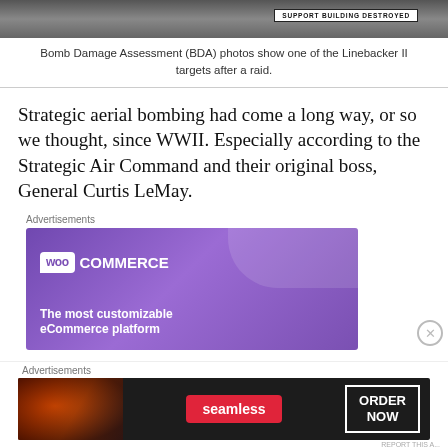[Figure (photo): Aerial bomb damage assessment photo showing destroyed support building, with label overlay reading 'SUPPORT BUILDING DESTROYED']
Bomb Damage Assessment (BDA) photos show one of the Linebacker II targets after a raid.
Strategic aerial bombing had come a long way, or so we thought, since WWII. Especially according to the Strategic Air Command and their original boss, General Curtis LeMay.
[Figure (other): WooCommerce advertisement banner: purple background with WooCommerce logo and tagline 'The most customizable eCommerce platform']
[Figure (other): Seamless food delivery advertisement: dark background with pizza image, Seamless red badge, and 'ORDER NOW' button]